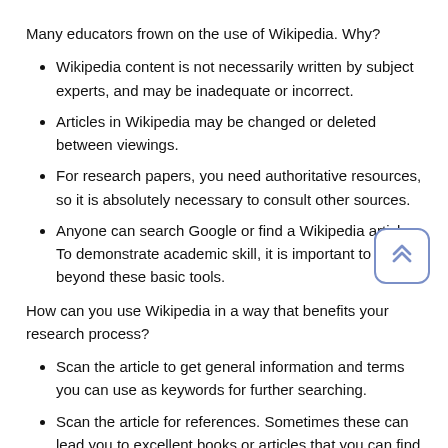Many educators frown on the use of Wikipedia. Why?
Wikipedia content is not necessarily written by subject experts, and may be inadequate or incorrect.
Articles in Wikipedia may be changed or deleted between viewings.
For research papers, you need authoritative resources, so it is absolutely necessary to consult other sources.
Anyone can search Google or find a Wikipedia article. To demonstrate academic skill, it is important to go beyond these basic tools.
How can you use Wikipedia in a way that benefits your research process?
Scan the article to get general information and terms you can use as keywords for further searching.
Scan the article for references. Sometimes these can lead you to excellent books or articles that you can find at the EVC Library or through our collection of databases.
Don't reference Wikipedia articles in your paper, unless you